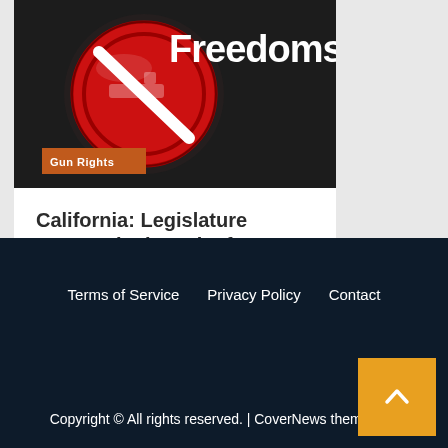[Figure (photo): Red no-guns prohibition sign on dark background with 'Freedoms' text overlay and 'Gun Rights' orange badge]
California: Legislature Enters Final Week of Session With Anti-Gun Legislation Still Moving!
5 hours ago  windsword
Terms of Service   Privacy Policy   Contact
Copyright © All rights reserved. | CoverNews themes.